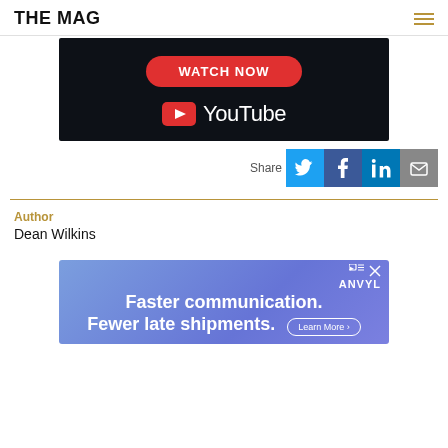THE MAG
[Figure (screenshot): YouTube embed with red 'WATCH NOW' button and YouTube logo on dark navy background]
Share
Author
Dean Wilkins
[Figure (infographic): ANVYL advertisement: 'Faster communication. Fewer late shipments.' with Learn More button on blue/purple gradient background]